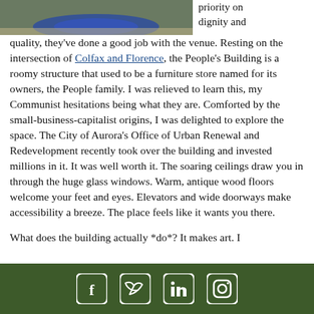[Figure (photo): Photo of a classroom or community space with a colorful circular rug on the floor, viewed from above/side angle.]
priority on dignity and quality, they've done a good job with the venue. Resting on the intersection of Colfax and Florence, the People's Building is a roomy structure that used to be a furniture store named for its owners, the People family. I was relieved to learn this, my Communist hesitations being what they are. Comforted by the small-business-capitalist origins, I was delighted to explore the space. The City of Aurora's Office of Urban Renewal and Redevelopment recently took over the building and invested millions in it. It was well worth it. The soaring ceilings draw you in through the huge glass windows. Warm, antique wood floors welcome your feet and eyes. Elevators and wide doorways make accessibility a breeze. The place feels like it wants you there.
What does the building actually *do*? It makes art. I
Social media icons: Facebook, Twitter, LinkedIn, Instagram